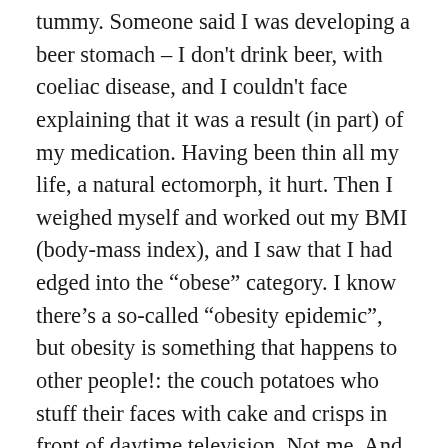tummy. Someone said I was developing a beer stomach – I don't drink beer, with coeliac disease, and I couldn't face explaining that it was a result (in part) of my medication. Having been thin all my life, a natural ectomorph, it hurt. Then I weighed myself and worked out my BMI (body-mass index), and I saw that I had edged into the “obese” category. I know there’s a so-called “obesity epidemic”, but obesity is something that happens to other people!: the couch potatoes who stuff their faces with cake and crisps in front of daytime television. Not me. And because I felt fat, my self-esteem was falling. Self-esteem is a big problem for depressed people, and the last thing we need is people telling us bad things when we meet them on the street, or looking